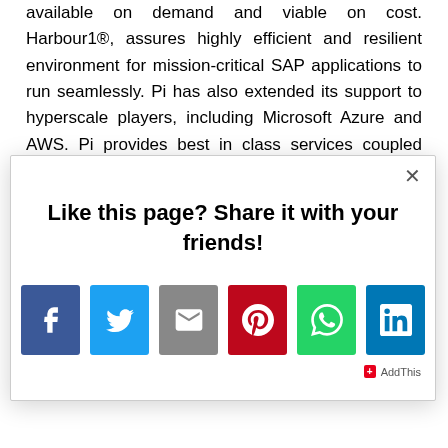available on demand and viable on cost. Harbour1®, assures highly efficient and resilient environment for mission-critical SAP applications to run seamlessly. Pi has also extended its support to hyperscale players, including Microsoft Azure and AWS. Pi provides best in class services coupled with, stringent SLAs, yet being
Like this page? Share it with your friends!
[Figure (infographic): Social share buttons: Facebook, Twitter, Email, Pinterest, WhatsApp, LinkedIn. AddThis branding in bottom right.]